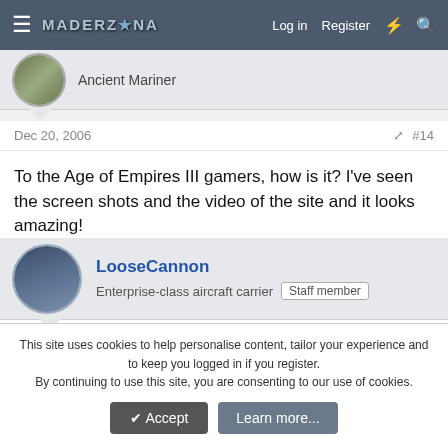≡  MADERZCNA   Log in   Register  ⚡  🔍
Ancient Mariner
Dec 20, 2006  #14
To the Age of Empires III gamers, how is it? I've seen the screen shots and the video of the site and it looks amazing!
LooseCannon
Enterprise-class aircraft carrier  Staff member
Dec 20, 2006  #15
Age of Empires II: The Age of Kings (With Expansion) is the best RTS ever made.  The Duke and I still play whenever we
This site uses cookies to help personalise content, tailor your experience and to keep you logged in if you register.
By continuing to use this site, you are consenting to our use of cookies.